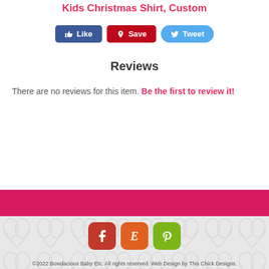Kids Christmas Shirt, Custom
[Figure (infographic): Social sharing buttons: Like (Facebook, blue), Save (Pinterest, red), Tweet (Twitter, light blue)]
Reviews
There are no reviews for this item. Be the first to review it!
[Figure (infographic): Pink horizontal banner strip]
©2022 Bowdacious Baby Etc. All rights reserved. Web Design by This Chick Designs.